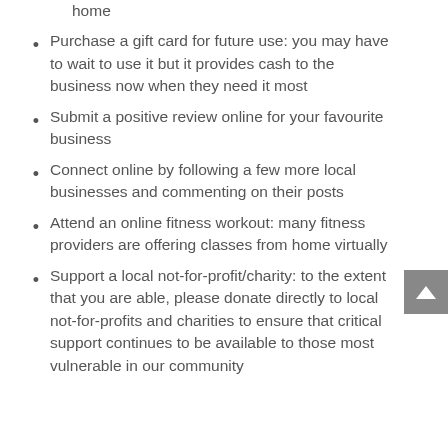home
Purchase a gift card for future use: you may have to wait to use it but it provides cash to the business now when they need it most
Submit a positive review online for your favourite business
Connect online by following a few more local businesses and commenting on their posts
Attend an online fitness workout: many fitness providers are offering classes from home virtually
Support a local not-for-profit/charity: to the extent that you are able, please donate directly to local not-for-profits and charities to ensure that critical support continues to be available to those most vulnerable in our community